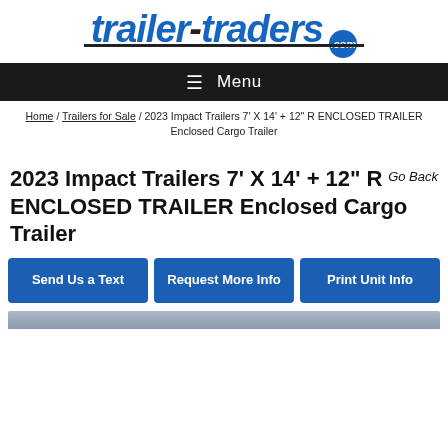[Figure (logo): trailer-traders.com logo in blue italic bold text with a dark underline and .com badge]
≡ Menu
Home / Trailers for Sale / 2023 Impact Trailers 7' X 14' + 12" R ENCLOSED TRAILER Enclosed Cargo Trailer
2023 Impact Trailers 7' X 14' + 12" R ENCLOSED TRAILER Enclosed Cargo Trailer
Go Back
Send Us a Text
Request More Info
Print Unit Info